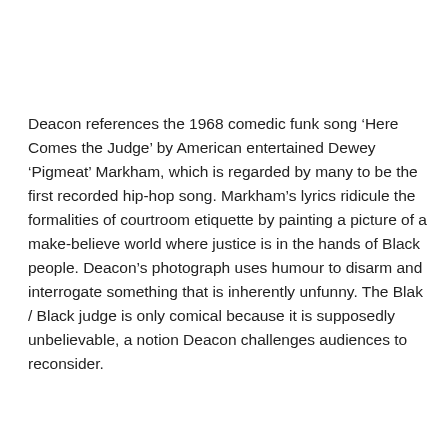Deacon references the 1968 comedic funk song ‘Here Comes the Judge’ by American entertained Dewey ‘Pigmeat’ Markham, which is regarded by many to be the first recorded hip-hop song. Markham’s lyrics ridicule the formalities of courtroom etiquette by painting a picture of a make-believe world where justice is in the hands of Black people. Deacon’s photograph uses humour to disarm and interrogate something that is inherently unfunny. The Blak / Black judge is only comical because it is supposedly unbelievable, a notion Deacon challenges audiences to reconsider.